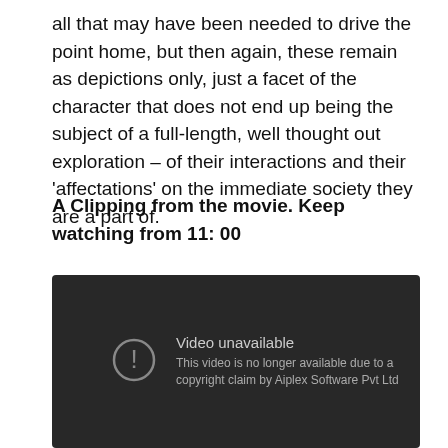all that may have been needed to drive the point home, but then again, these remain as depictions only, just a facet of the character that does not end up being the subject of a full-length, well thought out exploration – of their interactions and their 'affectations' on the immediate society they are a part of.
A Clipping from the movie. Keep watching from 11: 00
[Figure (screenshot): A YouTube-style video embed showing 'Video unavailable' message with a circle-exclamation icon. Text reads: 'This video is no longer available due to a copyright claim by Aiplex Software Pvt Ltd'. Dark background.]